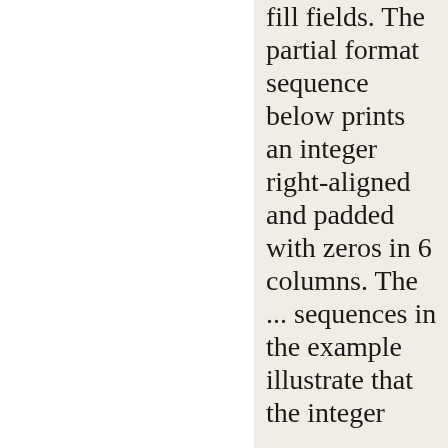fill fields. The partial format sequence below prints an integer right-aligned and padded with zeros in 6 columns. The ... sequences in the example illustrate that the integer